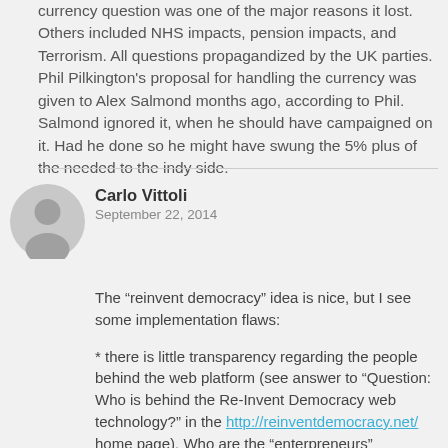currency question was one of the major reasons it lost. Others included NHS impacts, pension impacts, and Terrorism. All questions propagandized by the UK parties. Phil Pilkington's proposal for handling the currency was given to Alex Salmond months ago, according to Phil. Salmond ignored it, when he should have campaigned on it. Had he done so he might have swung the 5% plus of the needed to the indy side.
Carlo Vittoli
September 22, 2014
The “reinvent democracy” idea is nice, but I see some implementation flaws:

* there is little transparency regarding the people behind the web platform (see answer to “Question: Who is behind the Re-Invent Democracy web technology?” in the http://reinventdemocracy.net/ home page). Who are the “enterpreneurs” mentioned there?

* the web platform is based on a patented concept. Patents can be sold and, in principle, this patent might come under control of the very elites which are causing the democracy crisis the web platform wants to solve.

* from the http://reinventdemocracy.net/ home page: